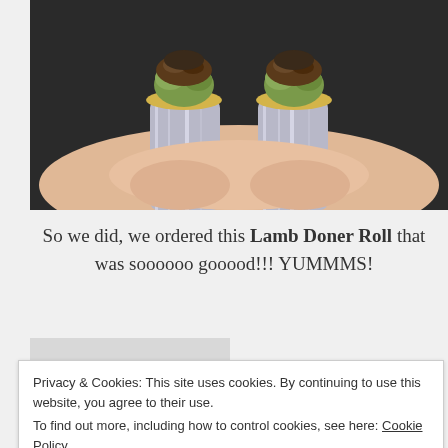[Figure (photo): A person holding two halves of a Lamb Doner Roll wrapped in foil, showing the filled interior with meat and vegetables.]
So we did, we ordered this Lamb Doner Roll that was soooooo gooood!!! YUMMMS!
[Figure (photo): Partially visible second image, cropped at page boundary.]
Privacy & Cookies: This site uses cookies. By continuing to use this website, you agree to their use.
To find out more, including how to control cookies, see here: Cookie Policy
Close and accept